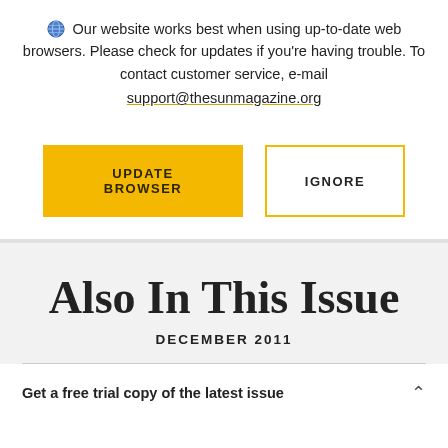Our website works best when using up-to-date web browsers. Please check for updates if you're having trouble. To contact customer service, e-mail support@thesunmagazine.org
[Figure (other): UPDATE BROWSER button (yellow) and IGNORE button (outlined in yellow)]
Also In This Issue
DECEMBER 2011
Get a free trial copy of the latest issue